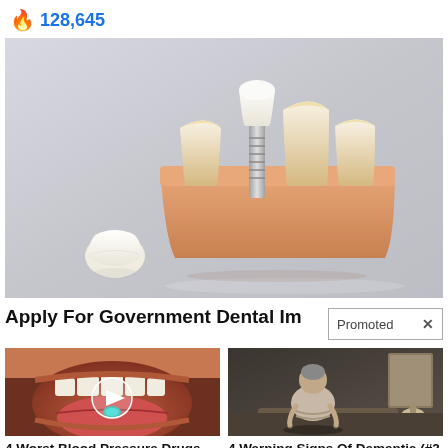128,645
[Figure (photo): Dental implant model showing teeth cross-section with implant screw, on a light grey background with a loose dental crown in the foreground]
Apply For Government Dental Im
Promoted X
[Figure (photo): Close-up of a person's open mouth showing tongue and a small teal/green pill or tablet, with a play button circle overlay]
4 Worst Blood Pressure Drugs (Avoid At All Costs)
66,774
[Figure (photo): Elderly person sitting on a bed in dim light, head bowed, wearing light-colored clothing]
4 Warning Signs Of Dementia (#2 Is Scary)
43,916